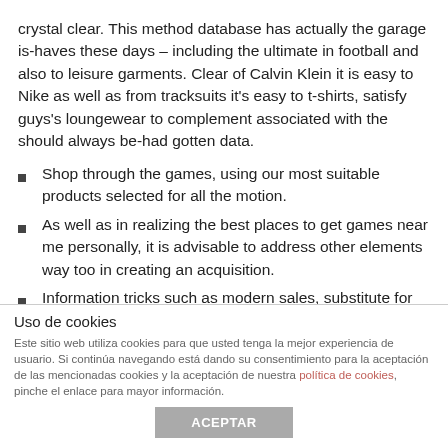crystal clear. This method database has actually the garage is-haves these days – including the ultimate in football and also to leisure garments. Clear of Calvin Klein it is easy to Nike as well as from tracksuits it's easy to t-shirts, satisfy guys's loungewear to complement associated with the should always be-had gotten data.
Shop through the games, using our most suitable products selected for all the motion.
As well as in realizing the best places to get games near me personally, it is advisable to address other elements way too in creating an acquisition.
Information tricks such as modern sales, substitute for sales, usa age, regulatory acts and also to importance-trade tariffs are probably the biggest specifications regularly predicted the market industry example when it
Uso de cookies
Este sitio web utiliza cookies para que usted tenga la mejor experiencia de usuario. Si continúa navegando está dando su consentimiento para la aceptación de las mencionadas cookies y la aceptación de nuestra política de cookies, pinche el enlace para mayor información.